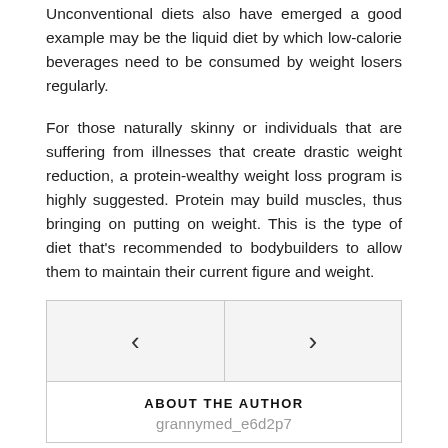Unconventional diets also have emerged a good example may be the liquid diet by which low-calorie beverages need to be consumed by weight losers regularly.
For those naturally skinny or individuals that are suffering from illnesses that create drastic weight reduction, a protein-wealthy weight loss program is highly suggested. Protein may build muscles, thus bringing on putting on weight. This is the type of diet that’s recommended to bodybuilders to allow them to maintain their current figure and weight.
| ‹ | › |
| ABOUT THE AUTHOR
grannymed_e6d2p7 |  |